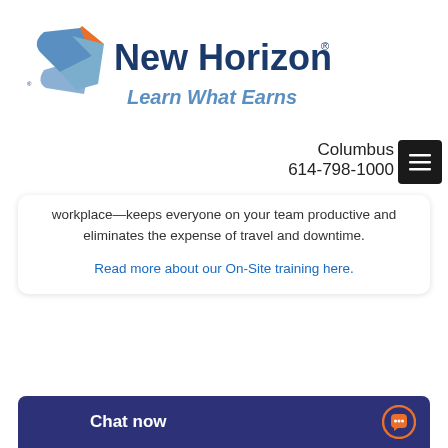[Figure (logo): New Horizons logo with tagline 'Learn What Earns' — blue and orange bird/arrow emblem with blue text]
Columbus
614-798-1000
workplace—keeps everyone on your team productive and eliminates the expense of travel and downtime.
Read more about our On-Site training here.
Chat now